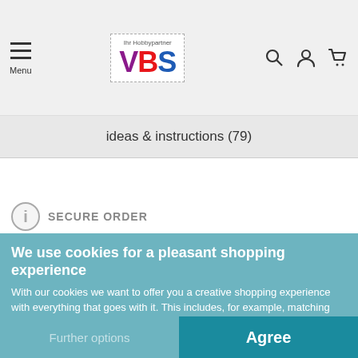[Figure (logo): VBS Ihr Hobbypartner logo with dashed border, hamburger menu icon labeled Menu, search icon, user icon, cart icon in header]
ideas & instructions (79)
SECURE ORDER
We use cookies for a pleasant shopping experience
With our cookies we want to offer you a creative shopping experience with everything that goes with it. This includes, for example, matching offers and remembering settings.
If that is okay with you, you simply agree to the use of cookies for preferences, statistics and marketing by clicking on "Agree". You can view more details in our Privacy policy or manage it here.
Further options
Agree